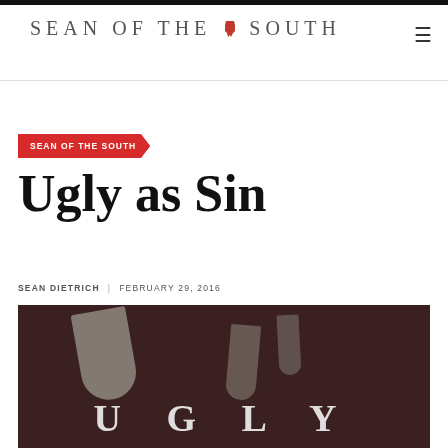SEAN OF THE SOUTH
SEAN OF THE SOUTH
Ugly as Sin
SEAN DIETRICH   FEBRUARY 29, 2016
[Figure (photo): Dark moody photo with white candle-like shapes and large overlaid text reading UGLY in white serif letters]